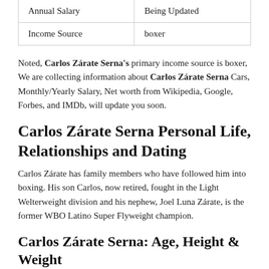| Annual Salary | Being Updated |
| --- | --- |
| Income Source | boxer |
Noted, Carlos Zárate Serna's primary income source is boxer, We are collecting information about Carlos Zárate Serna Cars, Monthly/Yearly Salary, Net worth from Wikipedia, Google, Forbes, and IMDb, will update you soon.
Carlos Zárate Serna Personal Life, Relationships and Dating
Carlos Zárate has family members who have followed him into boxing. His son Carlos, now retired, fought in the Light Welterweight division and his nephew, Joel Luna Zárate, is the former WBO Latino Super Flyweight champion.
Carlos Zárate Serna: Age, Height & Weight